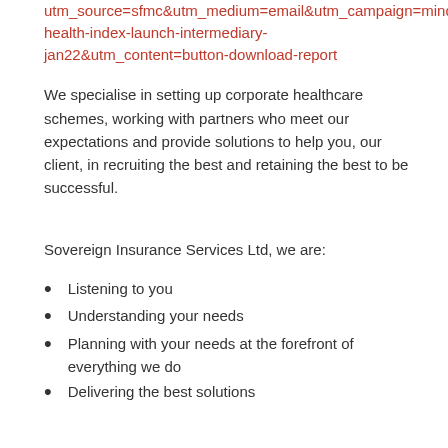utm_source=sfmc&utm_medium=email&utm_campaign=mind-health-index-launch-intermediary-jan22&utm_content=button-download-report
We specialise in setting up corporate healthcare schemes, working with partners who meet our expectations and provide solutions to help you, our client, in recruiting the best and retaining the best to be successful.
Sovereign Insurance Services Ltd, we are:
Listening to you
Understanding your needs
Planning with your needs at the forefront of everything we do
Delivering the best solutions